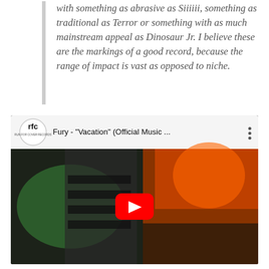with something as abrasive as Siiiiii, something as traditional as Terror or something with as much mainstream appeal as Dinosaur Jr. I believe these are the markings of a good record, because the range of impact is vast as opposed to niche.
[Figure (screenshot): YouTube video embed showing Fury - 'Vacation' (Official Music ...) with RFC logo, video title bar, and thumbnail with play button]